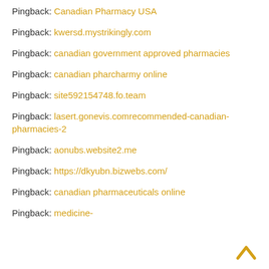Pingback: Canadian Pharmacy USA
Pingback: kwersd.mystrikingly.com
Pingback: canadian government approved pharmacies
Pingback: canadian pharcharmy online
Pingback: site592154748.fo.team
Pingback: lasert.gonevis.comrecommended-canadian-pharmacies-2
Pingback: aonubs.website2.me
Pingback: https://dkyubn.bizwebs.com/
Pingback: canadian pharmaceuticals online
Pingback: medicine-